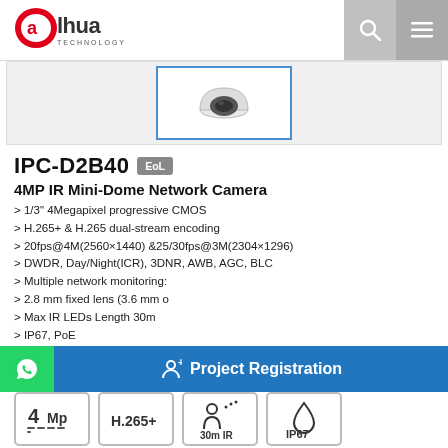[Figure (logo): Dahua Technology logo - red oval with 'alhua' text and TECHNOLOGY subtitle]
[Figure (photo): IPC-D2B40 mini dome network camera product photo, white dome camera viewed from below]
IPC-D2B40 EoL
4MP IR Mini-Dome Network Camera
> 1/3" 4Megapixel progressive CMOS
> H.265+ & H.265 dual-stream encoding
> 20fps@4M(2560×1440) &25/30fps@3M(2304×1296)
> DWDR, Day/Night(ICR), 3DNR, AWB, AGC, BLC
> Multiple network monitoring:
> 2.8 mm fixed lens (3.6 mm o
> Max IR LEDs Length 30m
> IP67, PoE
[Figure (infographic): Four feature badge icons: 4Mp, H.265+, 30m IR, IP67]